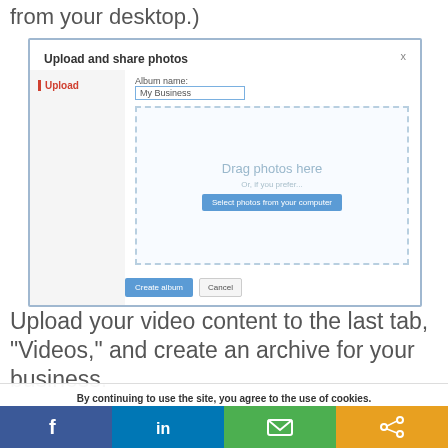from your desktop.)
[Figure (screenshot): Upload and share photos dialog box showing a left panel with Upload tab, an Album name field with 'My Business', a dashed drag-and-drop zone with 'Drag photos here', 'Or, if you prefer...', and 'Select photos from your computer' button, plus Create album and Cancel buttons.]
Upload your video content to the last tab, "Videos," and create an archive for your business.
By continuing to use the site, you agree to the use of cookies.
more information
Accept